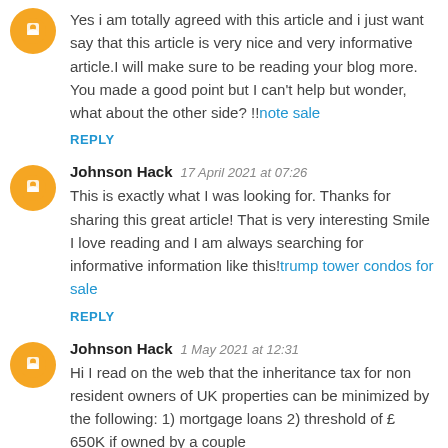Yes i am totally agreed with this article and i just want say that this article is very nice and very informative article.I will make sure to be reading your blog more. You made a good point but I can't help but wonder, what about the other side? !!note sale
REPLY
Johnson Hack  17 April 2021 at 07:26
This is exactly what I was looking for. Thanks for sharing this great article! That is very interesting Smile I love reading and I am always searching for informative information like this!trump tower condos for sale
REPLY
Johnson Hack  1 May 2021 at 12:31
Hi I read on the web that the inheritance tax for non resident owners of UK properties can be minimized by the following: 1) mortgage loans 2) threshold of £ 650K if owned by a couple